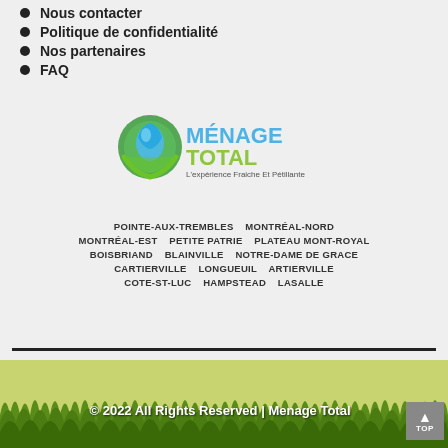Nous contacter
Politique de confidentialité
Nos partenaires
FAQ
[Figure (logo): Ménage Total logo with circular blue-green emblem and tagline: L'expérience Fraiche Et Pétillante]
POINTE-AUX-TREMBLES   MONTRÉAL-NORD   MONTRÉAL-EST   PETITE PATRIE   PLATEAU MONT-ROYAL   BOISBRIAND   BLAINVILLE   NOTRE-DAME DE GRACE   CARTIERVILLE   LONGUEUIL   ARTIERVILLE   COTE-ST-LUC   HAMPSTEAD   LASALLE
© 2022 All Rights Reserved | Menage Total